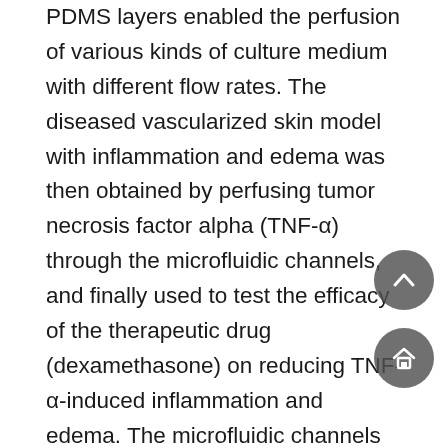PDMS layers enabled the perfusion of various kinds of culture medium with different flow rates. The diseased vascularized skin model with inflammation and edema was then obtained by perfusing tumor necrosis factor alpha (TNF-α) through the microfluidic channels, and finally used to test the efficacy of the therapeutic drug (dexamethasone) on reducing TNF-α-induced inflammation and edema. The microfluidic channels within this human skin-on-a-chip device has shown crucial role in mimicking the complex and dynamic microenvironment within native human tissue by introducing perfusing culture medium and biofactors. However, in this work, the researchers adopted the 2D skin cell culture, which lacks the 3D complexity of the human skin. To tackle these problems, Lee et al. prepared a skin-on-a-chip model with 3D FTSEs, where human dermal primary fibroblasts were encapsulated in a 3D collagen hydrogel to represent the dermis layer, and HaCaT cells or primary human keratinocytes were cultured on top of the collagen-fibroblast mixture exposed to air-liquid interface in the presence of epidermalization media to